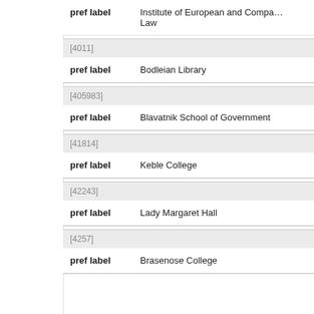| pref label | value |
| --- | --- |
| pref label | Institute of European and Comparative Law |
| pref label | Bodleian Library |
| pref label | Blavatnik School of Government |
| pref label | Keble College |
| pref label | Lady Margaret Hall |
| pref label | Brasenose College |